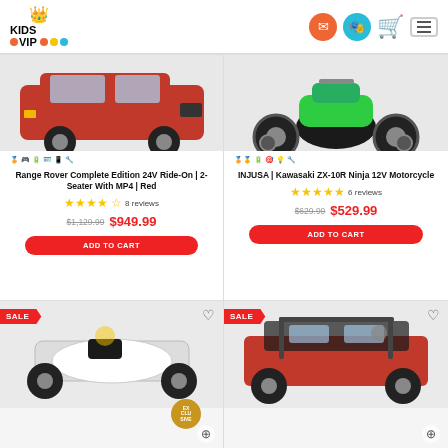KidsVIP - online store header with logo and navigation icons
[Figure (photo): Range Rover ride-on toy car product image (red), with feature icons row below]
Range Rover Complete Edition 24V Ride-On | 2-Seater With MP4 | Red
★★★★☆ 8 reviews
$1,129.99  $949.99
ADD TO CART
[Figure (photo): Kawasaki ZX-10R Ninja motorcycle toy (green/black), with feature icons row below]
INJUSA | Kawasaki ZX-10R Ninja 12V Motorcycle
★★★★★ 6 reviews
$629.99  $529.99
ADD TO CART
[Figure (photo): Go-kart ride-on toy (white/black) — SALE badge, Exclusive badge]
[Figure (photo): UTV/buggy ride-on toy (red/black) — SALE badge]